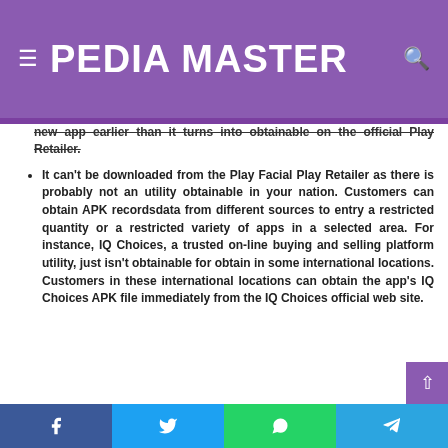PEDIA MASTER
new app earlier than it turns into obtainable on the official Play Retailer.
It can't be downloaded from the Play Facial Play Retailer as there is probably not an utility obtainable in your nation. Customers can obtain APK recordsdata from different sources to entry a restricted quantity or a restricted variety of apps in a selected area. For instance, IQ Choices, a trusted on-line buying and selling platform utility, just isn't obtainable for obtain in some international locations. Customers in these international locations can obtain the app's IQ Choices APK file immediately from the IQ Choices official web site.
Facebook | Twitter | WhatsApp | Telegram